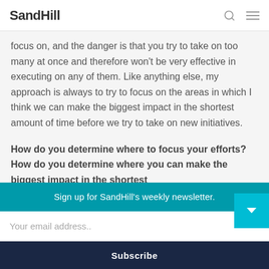Sand Hill
focus on, and the danger is that you try to take on too many at once and therefore won't be very effective in executing on any of them. Like anything else, my approach is always to try to focus on the areas in which I think we can make the biggest impact in the shortest amount of time before we try to take on new initiatives.
How do you determine where to focus your efforts? How do you determine where you can make the biggest impact in the shortest amount of time?
Sign up for SandHill's weekly newsletter.
Your email address..
Subscribe